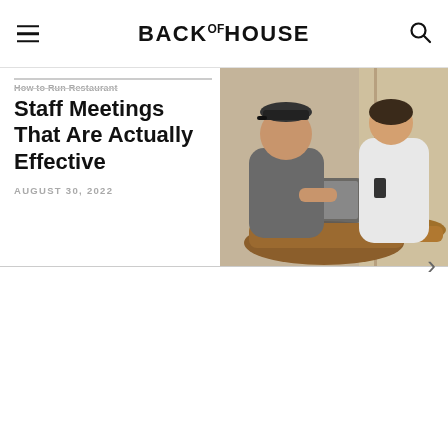BACK OF HOUSE
How to Run Restaurant Staff Meetings That Are Actually Effective
AUGUST 30, 2022
[Figure (photo): Two people, a man in a cap and a woman in white, sitting at a wooden café table looking at a laptop. Drinks and flowers on the table, bright window in background.]